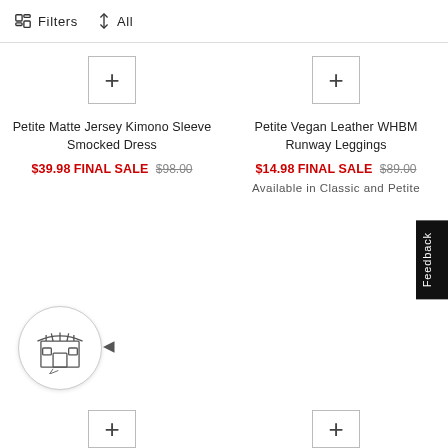Filters   All
[Figure (screenshot): Add to wishlist button (plus icon) for first product]
Petite Matte Jersey Kimono Sleeve Smocked Dress
$39.98 FINAL SALE $98.00
[Figure (screenshot): Add to wishlist button (plus icon) for second product]
Petite Vegan Leather WHBM Runway Leggings
$14.98 FINAL SALE $89.00
Available in Classic and Petite
[Figure (illustration): Store chat widget with store front icon and collapse arrow]
Feedback